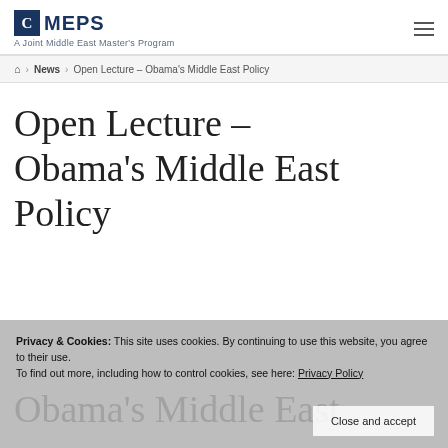C MEPS — A Joint Middle East Master's Program
Home > News > Open Lecture – Obama's Middle East Policy
Open Lecture – Obama's Middle East Policy
Privacy & Cookies: This site uses cookies. By continuing to use this website, you agree to their use.
To find out more, including how to control cookies, see here: Privacy Policy
Close and accept
Obama's Middle East